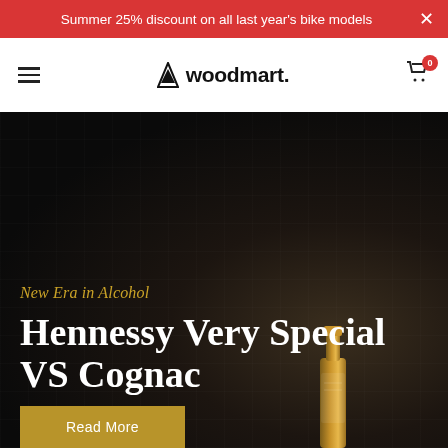Summer 25% discount on all last year's bike models
[Figure (logo): Woodmart logo with triangle/pine tree icon and wordmark 'woodmart.']
New Era in Alcohol
Hennessy Very Special VS Cognac
Read More